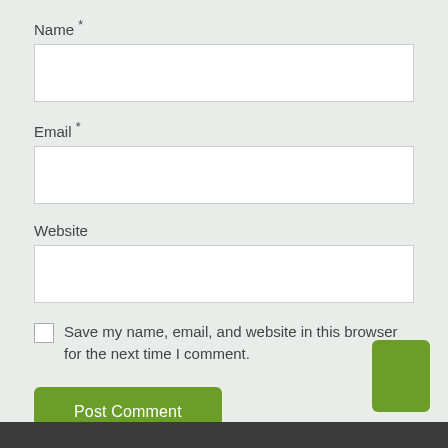Name *
Email *
Website
Save my name, email, and website in this browser for the next time I comment.
Post Comment
[Figure (other): Green square/rectangle button in bottom right corner]